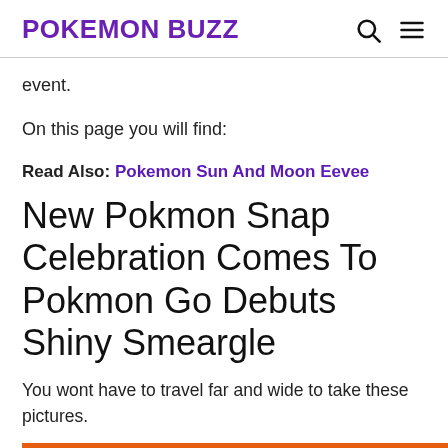POKEMON BUZZ
event.
On this page you will find:
Read Also: Pokemon Sun And Moon Eevee
New Pokmon Snap Celebration Comes To Pokmon Go Debuts Shiny Smeargle
You wont have to travel far and wide to take these pictures.
[Figure (infographic): Orange advertisement banner: Help send medical aid to Ukraine >> with Direct Relief logo on the right]